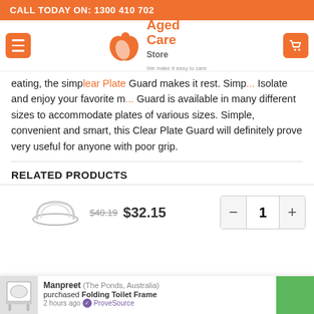CALL TODAY ON: 1300 410 702
[Figure (logo): Aged Care Store logo with tagline 'We make it easy to care']
eating, the simple Clear Plate Guard makes it rest. Simp... Isolate and enjoy your favorite m... Guard is available in many different sizes to accommodate plates of various sizes. Simple, convenient and smart, this Clear Plate Guard will definitely prove very useful for anyone with poor grip.
RELATED PRODUCTS
[Figure (other): Product image of a plate guard accessory]
$40.19  $32.15  - 1 +
Manpreet (The Ponds, Australia) purchased Folding Toilet Frame 2 hours ago ProveSource